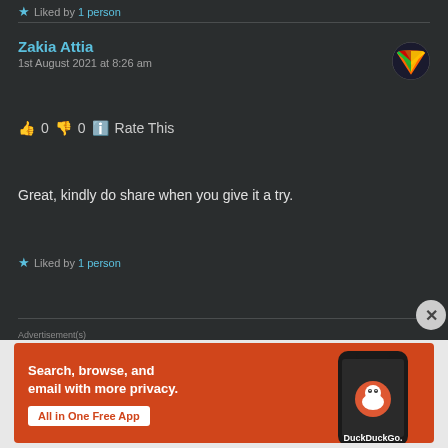★ Liked by 1 person
Zakia Attia
1st August 2021 at 8:26 am
👍 0 👎 0 ℹ Rate This
Great, kindly do share when you give it a try.
★ Liked by 1 person
[Figure (other): Advertisement banner for DuckDuckGo app. Orange background with text: Search, browse, and email with more privacy. All in One Free App. Shows a phone with DuckDuckGo logo.]